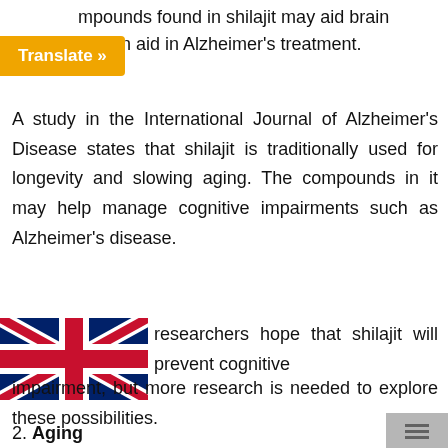[Figure (screenshot): Orange 'Translate »' button overlay in top-left corner]
mpounds found in shilajit may aid brain
y even aid in Alzheimer's treatment.
A study in the International Journal of Alzheimer's Disease states that shilajit is traditionally used for longevity and slowing aging. The compounds in it may help manage cognitive impairments such as Alzheimer's disease.
[Figure (illustration): UK flag (Union Jack) icon]
researchers hope that shilajit will prevent cognitive impairment, but more research is needed to explore these possibilities.
2. Aging
One study noted that fulvic acid, one of the key compounds in shilajit, acts as an antioxidant and anti-inflammatory compound. As such, it may help reduce free